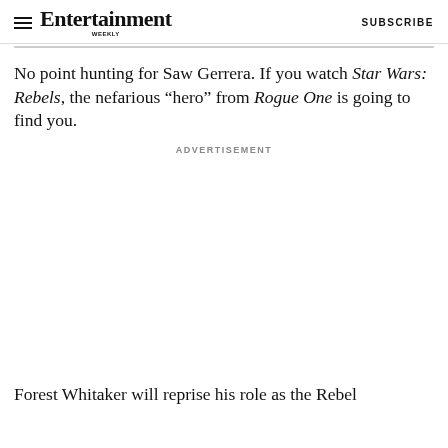Entertainment Weekly — SUBSCRIBE
No point hunting for Saw Gerrera. If you watch Star Wars: Rebels, the nefarious “hero” from Rogue One is going to find you.
ADVERTISEMENT
Forest Whitaker will reprise his role as the Rebel